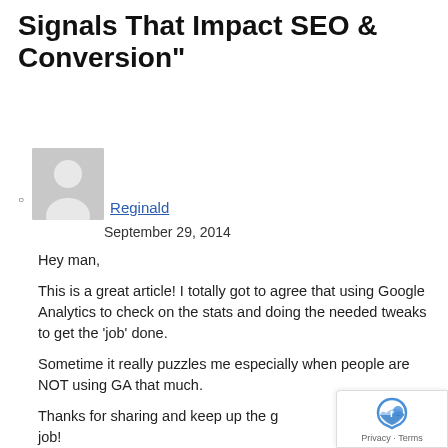Signals That Impact SEO & Conversion"
Reginald
September 29, 2014

Hey man,

This is a great article! I totally got to agree that using Google Analytics to check on the stats and doing the needed tweaks to get the 'job' done.

Sometime it really puzzles me especially when people are NOT using GA that much.

Thanks for sharing and keep up the g... job!